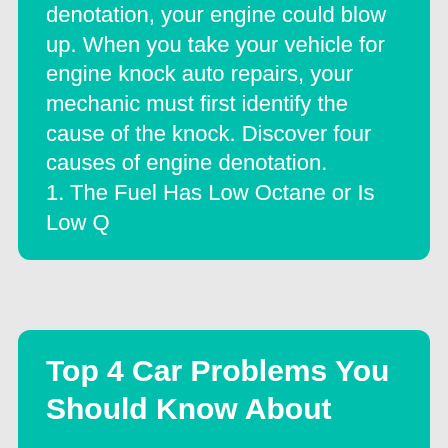denotation, your engine could blow up. When you take your vehicle for engine knock auto repairs, your mechanic must first identify the cause of the knock. Discover four causes of engine denotation. 1. The Fuel Has Low Octane or Is Low Q
Top 4 Car Problems You Should Know About
11 July 2022
When you notice an abnormality in your vehicle, do not ignore it. Most vehicle issues are progressive, meaning that overlooking minor repairs will cost you more in the future. But that doesn't mean you should address the issue yourself. Remember, the vehicle's internal systems are complicated, and handling them can create additional problems if you do not have the rig...